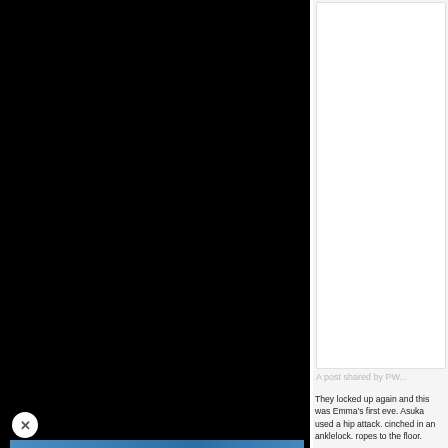[Figure (screenshot): Left panel black video background with a video thumbnail showing two wrestlers in a ring, a play button overlay, and the WatchMojo logo. A close (X) button is visible on the left side.]
[Figure (screenshot): Right panel showing an Instagram embed box (gray/white) with 'A post shared by PW...' label at the bottom.]
They locked up again and this was Emma's first ever. Asuka used a hip attack and cinched in an anklelock. ropes to the floor.
Emma worked her over on face into the mat for a two. some kicks. Emma mad